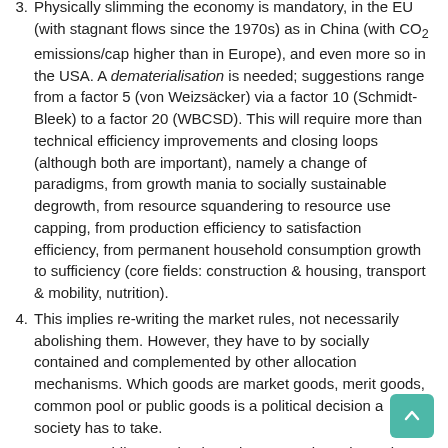3. Physically slimming the economy is mandatory, in the EU (with stagnant flows since the 1970s) as in China (with CO₂ emissions/cap higher than in Europe), and even more so in the USA. A dematerialisation is needed; suggestions range from a factor 5 (von Weizsäcker) via a factor 10 (Schmidt-Bleek) to a factor 20 (WBCSD). This will require more than technical efficiency improvements and closing loops (although both are important), namely a change of paradigms, from growth mania to socially sustainable degrowth, from resource squandering to resource use capping, from production efficiency to satisfaction efficiency, from permanent household consumption growth to sufficiency (core fields: construction & housing, transport & mobility, nutrition).
4. This implies re-writing the market rules, not necessarily abolishing them. However, they have to by socially contained and complemented by other allocation mechanisms. Which goods are market goods, merit goods, common pool or public goods is a political decision a society has to take.
5. However, while a market based economy based on private property and competition (vulgo: capitalism)